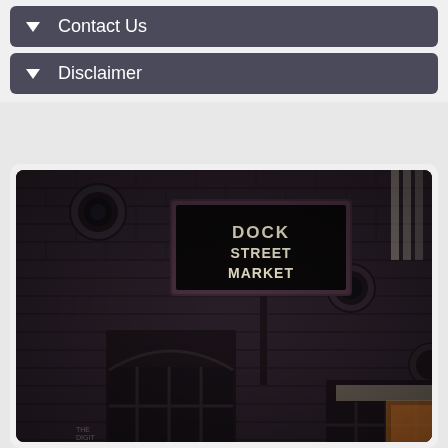Contact Us
Disclaimer
[Figure (photo): Exterior photo of a dark brick building at night or dusk, with a prominent sign reading 'DOCK STREET MARKET' mounted on a pole. The building has arched windows and circular wall-mounted lights. The scene has a moody, dark atmosphere.]